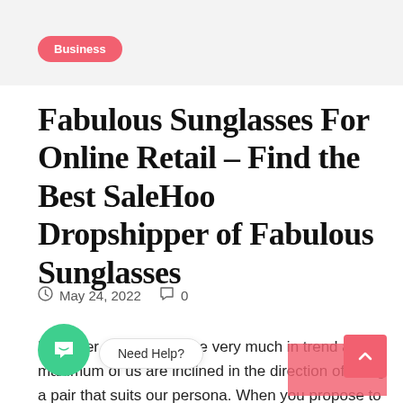Business
Fabulous Sunglasses For Online Retail – Find the Best SaleHoo Dropshipper of Fabulous Sunglasses
May 24, 2022  0
Designer sun shades are very much in trend and maximum of us are inclined in the direction of using a pair that suits our persona. When you propose to shop for designer shades, the